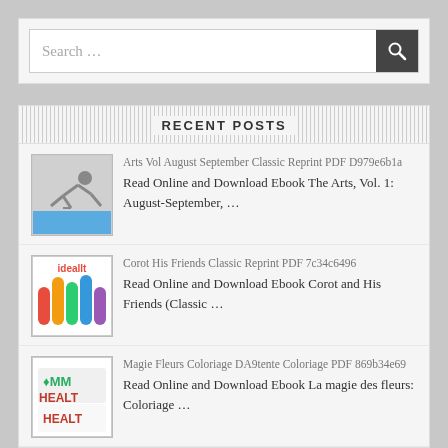[Figure (screenshot): Search bar with text 'Search ...' and a dark search button with magnifier icon]
RECENT POSTS
Arts Vol August September Classic Reprint PDF D979e6b1a
Read Online and Download Ebook The Arts, Vol. 1: August-September, ...
Corot His Friends Classic Reprint PDF 7c34c6496
Read Online and Download Ebook Corot and His Friends (Classic ...
Magie Fleurs Coloriage DA9tente Coloriage PDF 869b34e69
Read Online and Download Ebook La magie des fleurs: Coloriage ...
Journal 1879 Vol Classic Reprint PDF E4b09b2bf
Read Online and Download Ebook The Art Journal, 1879, Vol. ...
Dante Gabriel Rossett Illustrated Memorial PDF 524252420